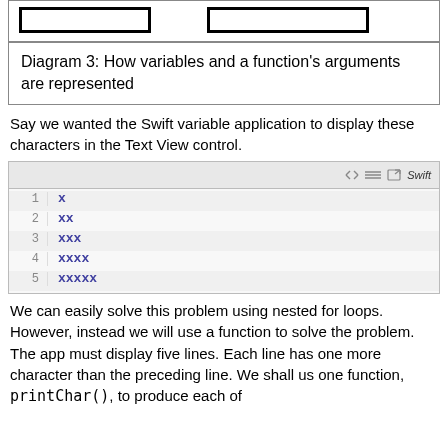[Figure (schematic): Two rectangular boxes representing variables and a function's arguments]
Diagram 3: How variables and a function's arguments are represented
Say we wanted the Swift variable application to display these characters in the Text View control.
[Figure (screenshot): Swift code block showing 5 lines: x, xx, xxx, xxxx, xxxxx]
We can easily solve this problem using nested for loops. However, instead we will use a function to solve the problem. The app must display five lines. Each line has one more character than the preceding line. We shall us one function, printChar(), to produce each of